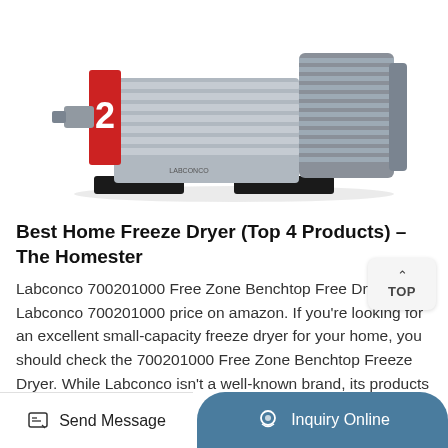[Figure (photo): Photograph of a Labconco vacuum pump / freeze dryer component — a grey metal industrial pump with fins, motor, and black base, viewed from a slightly elevated angle. A red number '2' is visible on the left side.]
Best Home Freeze Dryer (Top 4 Products) – The Homester
Labconco 700201000 Free Zone Benchtop Freeze Dryer. see Labconco 700201000 price on amazon. If you're looking for an excellent small-capacity freeze dryer for your home, you should check the 700201000 Free Zone Benchtop Freeze Dryer. While Labconco isn't a well-known brand, its products can do the work flawlessly. You can even freeze ice.
Send Message | Inquiry Online